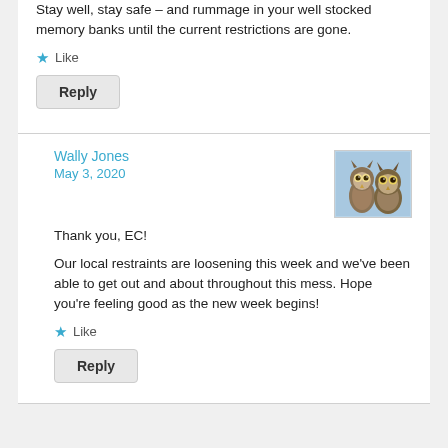Stay well, stay safe – and rummage in your well stocked memory banks until the current restrictions are gone.
Like
Reply
Wally Jones
May 3, 2020
[Figure (photo): Avatar photo of two owls on a light blue background]
Thank you, EC!
Our local restraints are loosening this week and we've been able to get out and about throughout this mess. Hope you're feeling good as the new week begins!
Like
Reply